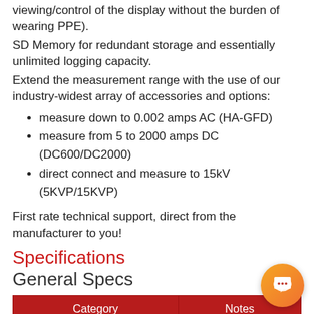viewing/control of the display without the burden of wearing PPE).
SD Memory for redundant storage and essentially unlimited logging capacity.
Extend the measurement range with the use of our industry-widest array of accessories and options:
measure down to 0.002 amps AC (HA-GFD)
measure from 5 to 2000 amps DC (DC600/DC2000)
direct connect and measure to 15kV (5KVP/15KVP)
First rate technical support, direct from the manufacturer to you!
Specifications
General Specs
| Category | Notes |
| --- | --- |
|  |  |